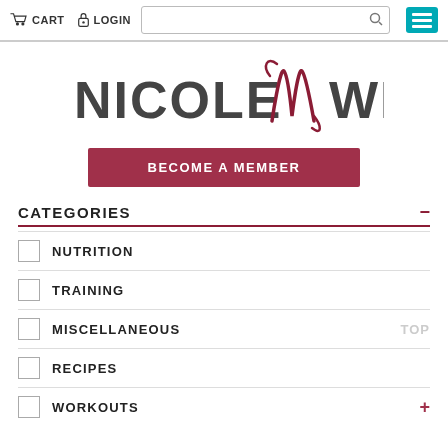CART  LOGIN  [search box]  [menu icon]
[Figure (logo): Nicole Wilkins logo with stylized NW monogram in script between NICOLE and WILKINS in bold sans-serif]
BECOME A MEMBER
CATEGORIES
NUTRITION
TRAINING
MISCELLANEOUS
RECIPES
WORKOUTS